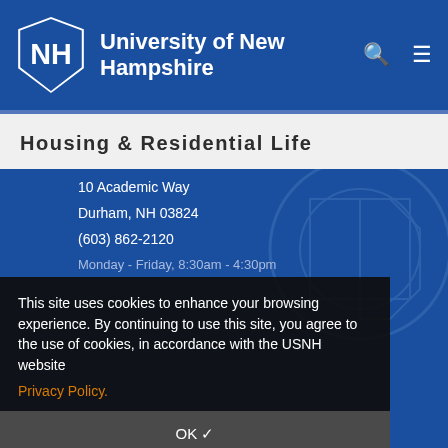University of New Hampshire
Housing & Residential Life
10 Academic Way
Durham, NH 03824
(603) 862-2120
Monday - Friday, 8:30am - 4:30pm
This site uses cookies to enhance your browsing experience. By continuing to use this site, you agree to the use of cookies, in accordance with the USNH website
Privacy Policy.
OK ✓